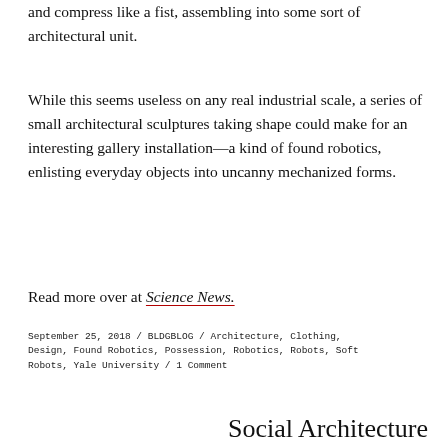and compress like a fist, assembling into some sort of architectural unit.
While this seems useless on any real industrial scale, a series of small architectural sculptures taking shape could make for an interesting gallery installation—a kind of found robotics, enlisting everyday objects into uncanny mechanized forms.
Read more over at Science News.
September 25, 2018 / BLDGBLOG / Architecture, Clothing, Design, Found Robotics, Possession, Robotics, Robots, Soft Robots, Yale University / 1 Comment
Social Architecture